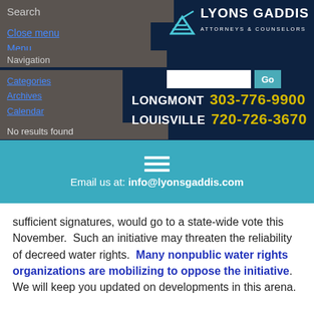Search
Close menu
Menu
[Figure (logo): Lyons Gaddis Attorneys & Counselors logo with stylized wave icon]
Navigation
Categories
Archives
Calendar
Search
No results found
LONGMONT  303-776-9900
LOUISVILLE  720-726-3670
Email us at: info@lyonsgaddis.com
sufficient signatures, would go to a state-wide vote this November.  Such an initiative may threaten the reliability of decreed water rights.  Many nonpublic water rights organizations are mobilizing to oppose the initiative.  We will keep you updated on developments in this arena.